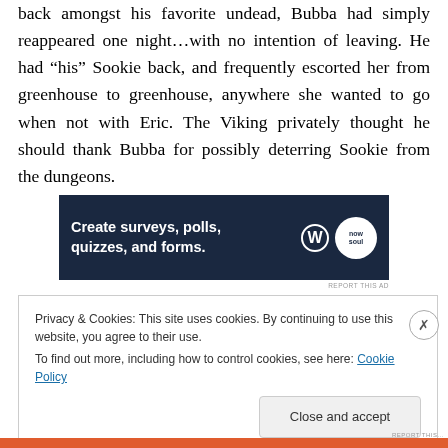back amongst his favorite undead, Bubba had simply reappeared one night…with no intention of leaving. He had “his” Sookie back, and frequently escorted her from greenhouse to greenhouse, anywhere she wanted to go when not with Eric. The Viking privately thought he should thank Bubba for possibly deterring Sookie from the dungeons.
[Figure (screenshot): Advertisement banner: dark navy background with text 'Create surveys, polls, quizzes, and forms.' with WordPress logo and a circular badge logo on the right.]
Privacy & Cookies: This site uses cookies. By continuing to use this website, you agree to their use. To find out more, including how to control cookies, see here: Cookie Policy
Close and accept